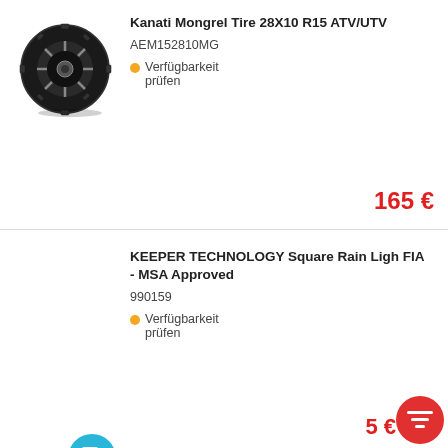[Figure (photo): Black ATV/UTV tire - Kanati Mongrel 28X10 R15]
Kanati Mongrel Tire 28X10 R15 ATV/UTV
AEM152810MG
Verfügbarkeit prüfen
165 €
KEEPER TECHNOLOGY Square Rain Ligh FIA - MSA Approved
990159
Verfügbarkeit prüfen
5 €
[Figure (photo): Partial product image at bottom - KEEPER TECHNOLOGY Rectangular Rain Light]
KEEPER TECHNOLOGY Rectangular Rain Light FIA - MSA Approved